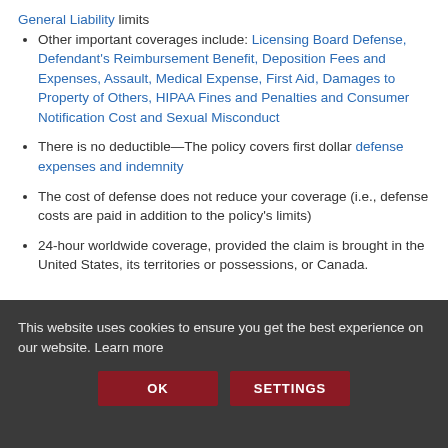General Liability limits
Other important coverages include: Licensing Board Defense, Defendant's Reimbursement Benefit, Deposition Fees and Expenses, Assault, Medical Expense, First Aid, Damages to Property of Others, HIPAA Fines and Penalties and Consumer Notification Cost and Sexual Misconduct
There is no deductible—The policy covers first dollar defense expenses and indemnity
The cost of defense does not reduce your coverage (i.e., defense costs are paid in addition to the policy's limits)
24-hour worldwide coverage, provided the claim is brought in the United States, its territories or possessions, or Canada.
This website uses cookies to ensure you get the best experience on our website. Learn more
OK   SETTINGS